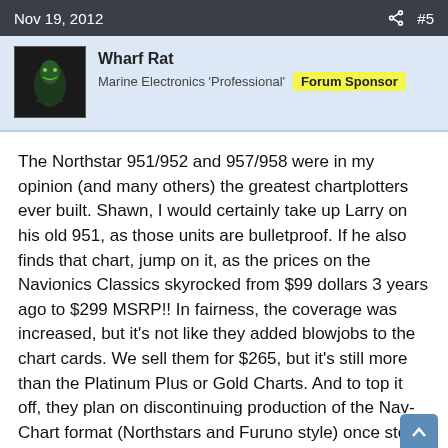Nov 19, 2012  #5
Wharf Rat
Marine Electronics 'Professional'  Forum Sponsor
The Northstar 951/952 and 957/958 were in my opinion (and many others) the greatest chartplotters ever built. Shawn, I would certainly take up Larry on his old 951, as those units are bulletproof. If he also finds that chart, jump on it, as the prices on the Navionics Classics skyrocked from $99 dollars 3 years ago to $299 MSRP!! In fairness, the coverage was increased, but it's not like they added blowjobs to the chart cards. We sell them for $265, but it's still more than the Platinum Plus or Gold Charts. And to top it off, they plan on discontinuing production of the Nav-Chart format (Northstars and Furuno style) once stock is depleted of the actual chart cards. I have a 952x that I bought from a customer with the intention of having that as my backup for my boat that still does not exist as of this